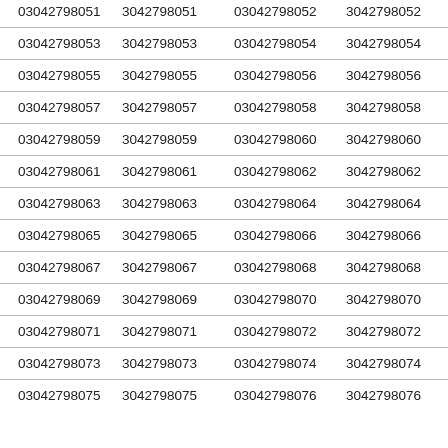| 03042798051 | 3042798051 | 03042798052 | 3042798052 |
| 03042798053 | 3042798053 | 03042798054 | 3042798054 |
| 03042798055 | 3042798055 | 03042798056 | 3042798056 |
| 03042798057 | 3042798057 | 03042798058 | 3042798058 |
| 03042798059 | 3042798059 | 03042798060 | 3042798060 |
| 03042798061 | 3042798061 | 03042798062 | 3042798062 |
| 03042798063 | 3042798063 | 03042798064 | 3042798064 |
| 03042798065 | 3042798065 | 03042798066 | 3042798066 |
| 03042798067 | 3042798067 | 03042798068 | 3042798068 |
| 03042798069 | 3042798069 | 03042798070 | 3042798070 |
| 03042798071 | 3042798071 | 03042798072 | 3042798072 |
| 03042798073 | 3042798073 | 03042798074 | 3042798074 |
| 03042798075 | 3042798075 | 03042798076 | 3042798076 |